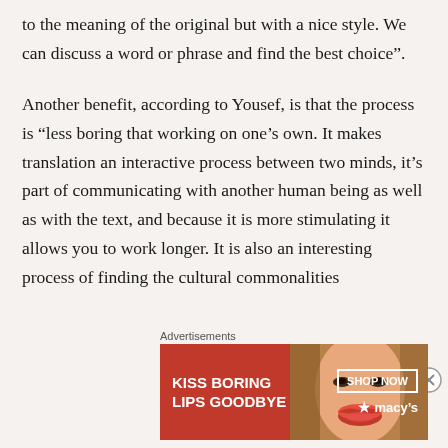to the meaning of the original but with a nice style. We can discuss a word or phrase and find the best choice”.
Another benefit, according to Yousef, is that the process is “less boring that working on one’s own. It makes translation an interactive process between two minds, it’s part of communicating with another human being as well as with the text, and because it is more stimulating it allows you to work longer. It is also an interesting process of finding the cultural commonalities
Advertisements
[Figure (other): Macy's advertisement banner: red background with woman's face showing red lips, text 'KISS BORING LIPS GOODBYE', 'SHOP NOW' button, and Macy's star logo]